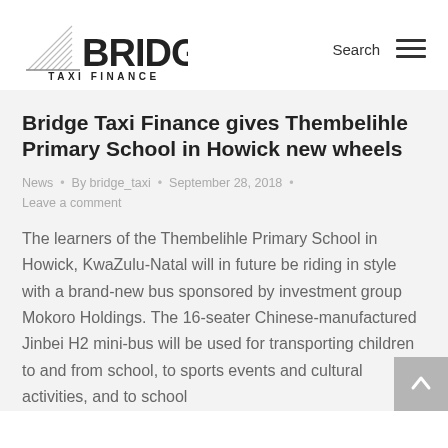[Figure (logo): Bridge Taxi Finance logo with diagonal lines graphic and bold BRIDGE text, TAXI FINANCE subtitle below]
Bridge Taxi Finance gives Thembelihle Primary School in Howick new wheels
News • By bridge_taxi • September 28, 2018 •
Leave a comment
The learners of the Thembelihle Primary School in Howick, KwaZulu-Natal will in future be riding in style with a brand-new bus sponsored by investment group Mokoro Holdings. The 16-seater Chinese-manufactured Jinbei H2 mini-bus will be used for transporting children to and from school, to sports events and cultural activities, and to school